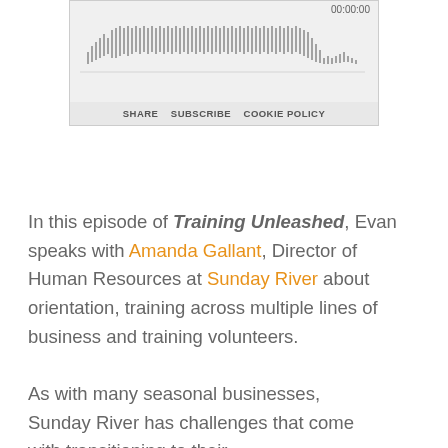[Figure (other): Audio player widget showing waveform visualization with timestamp 00:00:00 and controls bar with SHARE, SUBSCRIBE, COOKIE POLICY options]
In this episode of Training Unleashed, Evan speaks with Amanda Gallant, Director of Human Resources at Sunday River about orientation, training across multiple lines of business and training volunteers.
As with many seasonal businesses, Sunday River has challenges that come with transitioning to their